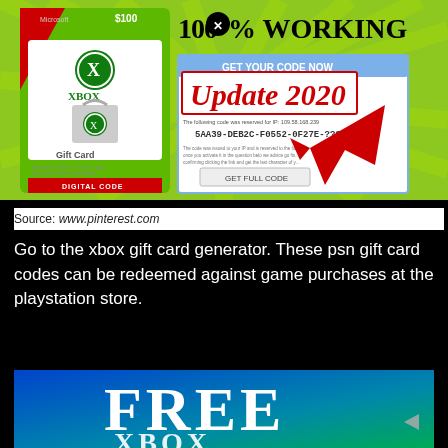[Figure (screenshot): Xbox $100 Gift Card image with '100% WORKING' header, 'Update 2020' overlay in red, a code display panel showing '5AA39-DEB2C-F0552-0F27E-????' and a 'GET FULL CODE' button, with a red arrow cursor pointing at it.]
Source: www.pinterest.com
Go to the xbox gift card generator. These psn gift card codes can be redeemed against game purchases at the playstation store.
[Figure (screenshot): Image with blue-to-green gradient background showing large white bold text 'FREE' and partial 'XBOX' logo text at bottom. A triangular play button is visible on the right side.]